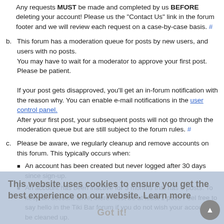any personally identifiable information on request. You can request that we remove posts as well but we prefer that you allow us to anonymise them instead.
Any requests MUST be made and completed by us BEFORE deleting your account! Please us the "Contact Us" link in the forum footer and we will review each request on a case-by-case basis. #
b. This forum has a moderation queue for posts by new users, and users with no posts.
You may have to wait for a moderator to approve your first post. Please be patient.

If your post gets disapproved, you'll get an in-forum notification with the reason why. You can enable e-mail notifications in the user control panel.
After your first post, your subsequent posts will not go through the moderation queue but are still subject to the forum rules. #
c. Please be aware, we regularly cleanup and remove accounts on this forum. This typically occurs when:
• An account has been created but never logged after 30 days since sign-up.
• An account has been inactive for 3 months that has 0 posts. To keep an account alive, there must be at least 1 post. Feel free to say hello in the Tiki Bar forum if you do not wish your account to be cleaned up.
• An account is banned. Usually after 90 days. Sooner if the account was generated by a spam bot. Posts if any exist will be anonymised or removed.
This website uses cookies to ensure you get the best experience on our website. Learn more
Got it!